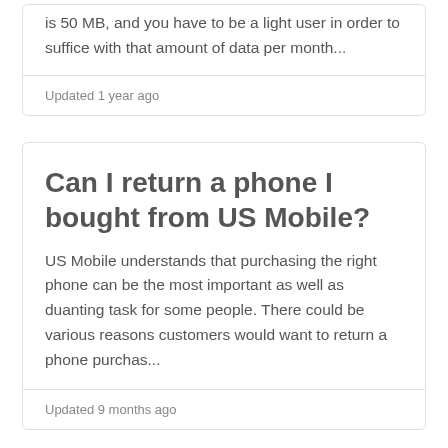is 50 MB, and you have to be a light user in order to suffice with that amount of data per month...
Updated 1 year ago
Can I return a phone I bought from US Mobile?
US Mobile understands that purchasing the right phone can be the most important as well as duanting task for some people. There could be various reasons customers would want to return a phone purchas...
Updated 9 months ago